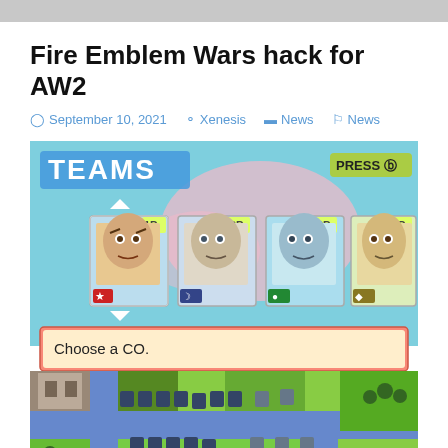Fire Emblem Wars hack for AW2
September 10, 2021   Xenesis   News   News
[Figure (screenshot): Game screenshot showing a Teams selection screen with four character portraits labeled 1P and CP, a 'Choose a CO.' dialog box, and a tactical map with unit sprites on a green and blue terrain.]